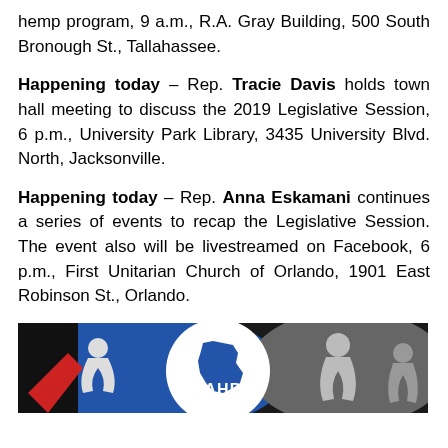hemp program, 9 a.m., R.A. Gray Building, 500 South Bronough St., Tallahassee.
Happening today – Rep. Tracie Davis holds town hall meeting to discuss the 2019 Legislative Session, 6 p.m., University Park Library, 3435 University Blvd. North, Jacksonville.
Happening today – Rep. Anna Eskamani continues a series of events to recap the Legislative Session. The event also will be livestreamed on Facebook, 6 p.m., First Unitarian Church of Orlando, 1901 East Robinson St., Orlando.
[Figure (logo): FAHP logo with stylized figures on blue and gray background]